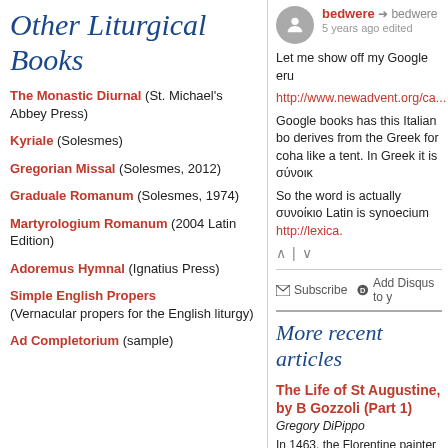Other Liturgical Books
The Monastic Diurnal (St. Michael's Abbey Press)
Kyriale (Solesmes)
Gregorian Missal (Solesmes, 2012)
Graduale Romanum (Solesmes, 1974)
Martyrologium Romanum (2004 Latin Edition)
Adoremus Hymnal (Ignatius Press)
Simple English Propers (Vernacular propers for the English liturgy)
Ad Completorium (sample)
bedwere → bedwere
5 years ago edited
Let me show off my Google eru
http://www.newadvent.org/ca...
Google books has this Italian bo derives from the Greek for coha like a tent. In Greek it is σύνοικ
So the word is actually συνοίκιο Latin is synoecium http://lexica.
Subscribe   Add Disqus to y
More recent articles
The Life of St Augustine, by B Gozzoli (Part 1)
Gregory DiPippo
In 1463, the Florentine painter Be